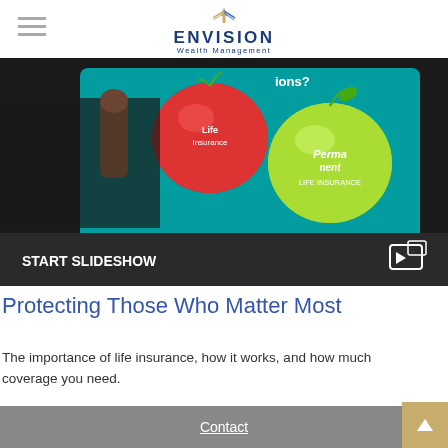ENVISION Wealth Management
[Figure (screenshot): Dark background image showing a hand touching a tablet screen displaying apple graphics labeled with life insurance terms (Permanent Life Insurance). Overlay text reads START SLIDESHOW with a play icon.]
Protecting Those Who Matter Most
The importance of life insurance, how it works, and how much coverage you need.
Contact  Office (757) 777-0101